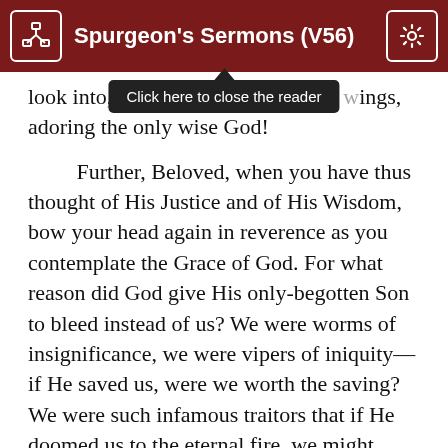Spurgeon's Sermons (V56)
look into, veil their faces with their wings, adoring the only wise God!
Further, Beloved, when you have thus thought of His Justice and of His Wisdom, bow your head again in reverence as you contemplate the Grace of God. For what reason did God give His only-begotten Son to bleed instead of us? We were worms of insignificance, we were vipers of iniquity—if He saved us, were we worth the saving? We were such infamous traitors that if He doomed us to the eternal fire, we might have been terrible examples of His Wrath, but Heaven's Darling